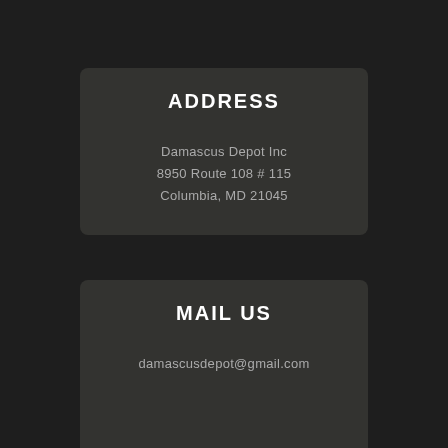ADDRESS
Damascus Depot Inc
8950 Route 108 # 115
Columbia, MD 21045
MAIL US
damascusdepot@gmail.com